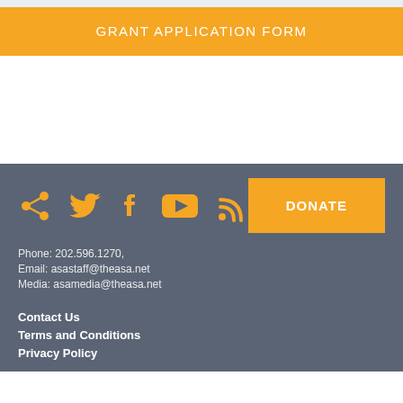GRANT APPLICATION FORM
Phone: 202.596.1270,
Email: asastaff@theasa.net
Media: asamedia@theasa.net
Contact Us
Terms and Conditions
Privacy Policy